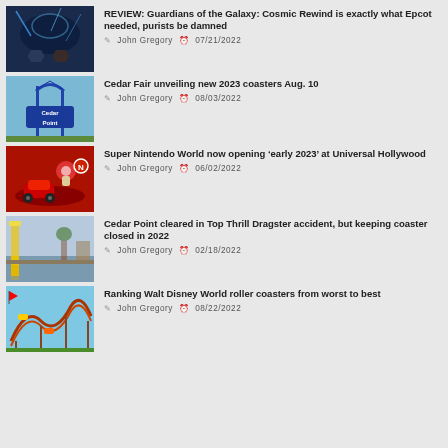REVIEW: Guardians of the Galaxy: Cosmic Rewind is exactly what Epcot needed, purists be damned — John Gregory 07/21/2022
Cedar Fair unveiling new 2023 coasters Aug. 10 — John Gregory 08/03/2022
Super Nintendo World now opening ‘early 2023’ at Universal Hollywood — John Gregory 06/02/2022
Cedar Point cleared in Top Thrill Dragster accident, but keeping coaster closed in 2022 — John Gregory 02/18/2022
Ranking Walt Disney World roller coasters from worst to best — John Gregory 08/22/2022